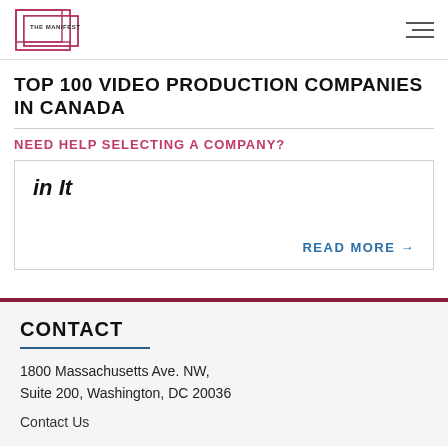THE MANIFEST
TOP 100 VIDEO PRODUCTION COMPANIES IN CANADA
NEED HELP SELECTING A COMPANY?
in It
READ MORE →
CONTACT
1800 Massachusetts Ave. NW, Suite 200, Washington, DC 20036
Contact Us